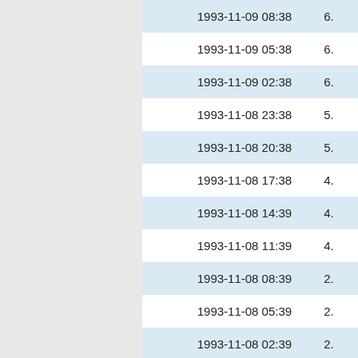| Datetime | Value |
| --- | --- |
| 1993-11-09 08:38 | 6. |
| 1993-11-09 05:38 | 6. |
| 1993-11-09 02:38 | 6. |
| 1993-11-08 23:38 | 5. |
| 1993-11-08 20:38 | 5. |
| 1993-11-08 17:38 | 4. |
| 1993-11-08 14:39 | 4. |
| 1993-11-08 11:39 | 4. |
| 1993-11-08 08:39 | 2. |
| 1993-11-08 05:39 | 2. |
| 1993-11-08 02:39 | 2. |
| 1993-11-07 23:39 | 2. |
| 1993-11-07 ... |  |